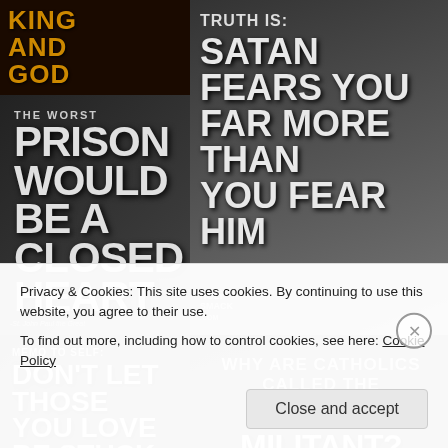[Figure (illustration): Grid of four religious motivational image tiles: top-left King and God, top-right Satan Fears You, middle-left Worst Prison is a Closed Heart, bottom-left Memo to Self Don't let those you love be stuck with an idiot, bottom-right Why are Catholics called the Church Militant]
Privacy & Cookies: This site uses cookies. By continuing to use this website, you agree to their use.
To find out more, including how to control cookies, see here: Cookie Policy
Close and accept